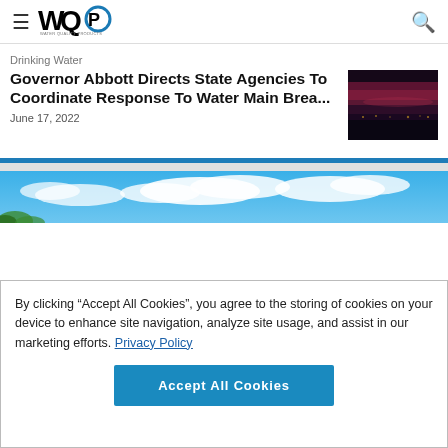WQP Water Quality Products
Drinking Water
Governor Abbott Directs State Agencies To Coordinate Response To Water Main Brea...
June 17, 2022
[Figure (photo): Dark twilight/dusk landscape photo with purple-red sky, silhouettes of trees and structures on the horizon]
[Figure (photo): Blue sky with white clouds and green vegetation in the lower left corner]
By clicking “Accept All Cookies”, you agree to the storing of cookies on your device to enhance site navigation, analyze site usage, and assist in our marketing efforts. Privacy Policy
Accept All Cookies